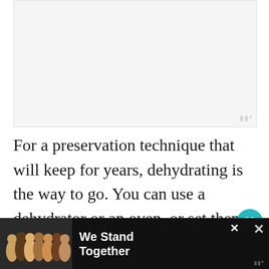[Figure (photo): Large image placeholder area with light gray background]
For a preservation technique that will keep for years, dehydrating is the way to go. You can use a dehydrator or an oven, or set them out in the sun if your climate is hot and dry.
To dehydrate, slice them as thin as 1/4 inch thick. D...
[Figure (photo): Ad banner: people hugging with text 'We Stand Together']